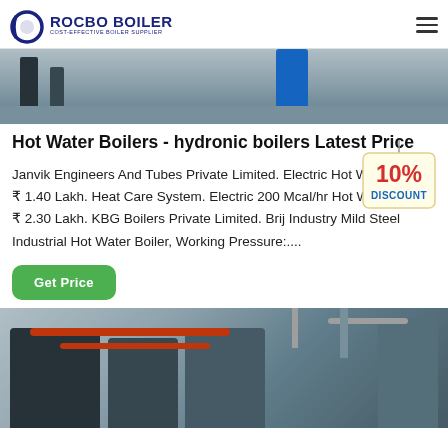ROCBO BOILER - COST-EFFECTIVE BOILER SUPPLIER
[Figure (photo): Industrial boiler equipment on shelving, partially visible at top of page]
Hot Water Boilers - hydronic boilers Latest Price
[Figure (infographic): 10% DISCOUNT badge/tag graphic]
Janvik Engineers And Tubes Private Limited. Electric Hot Water Boiler. ₹ 1.40 Lakh. Heat Care System. Electric 200 Mcal/hr Hot Water Boiler. ₹ 2.30 Lakh. KBG Boilers Private Limited. Brij Industry Mild Steel Industrial Hot Water Boiler, Working Pressure:....
Get Price
[Figure (photo): Industrial boiler room with large boiler units, orange/copper pipes, and vertical pipe structures]